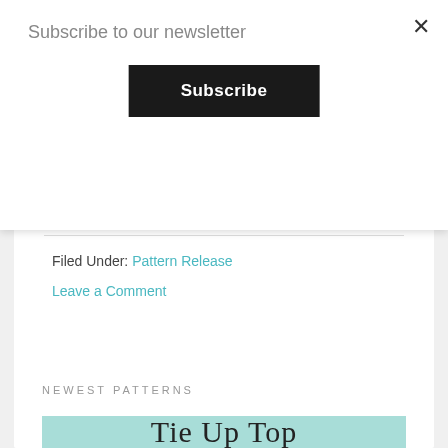Subscribe to our newsletter
×
Subscribe
[Figure (illustration): Decorative script/handwritten text partially visible, appearing to be a cursive heading or title]
Filed Under: Pattern Release
Leave a Comment
NEWEST PATTERNS
[Figure (illustration): Teal/mint colored background with script text reading 'Tie Up Top']